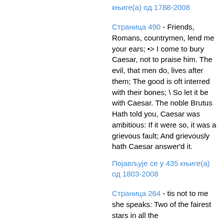књиге(а) од 1788-2008
Страница 490 - Friends, Romans, countrymen, lend me your ears; •> I come to bury Caesar, not to praise him. The evil, that men do, lives after them; The good is oft interred with their bones; \ So let it be with Caesar. The noble Brutus Hath told you, Caesar was ambitious: If it were so, it was a grievous fault; And grievously hath Caesar answer'd it.
Појављује се у 435 књиге(а) од 1803-2008
Страница 264 - tis not to me she speaks: Two of the fairest stars in all the